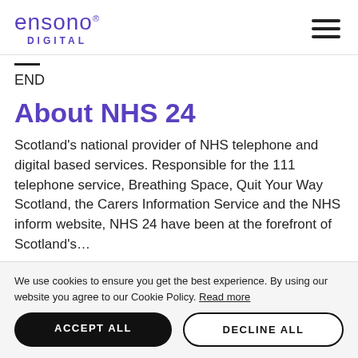[Figure (logo): Ensono Digital logo in purple with lowercase 'ensono' text and 'DIGITAL' subtitle]
END
About NHS 24
Scotland's national provider of NHS telephone and digital based services. Responsible for the 111 telephone service, Breathing Space, Quit Your Way Scotland, the Carers Information Service and the NHS inform website, NHS 24 have been at the forefront of Scotland's...
We use cookies to ensure you get the best experience. By using our website you agree to our Cookie Policy. Read more
ACCEPT ALL
DECLINE ALL